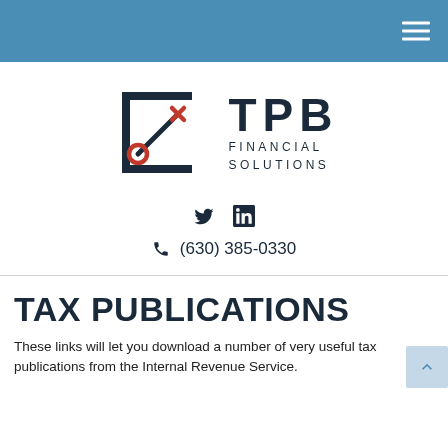TPB Financial Solutions – navigation header
[Figure (logo): TPB Financial Solutions logo with dark navy square bracket graphic containing a diagonal line with a red circle at the bottom and red X at the top, and bold text TPB FINANCIAL SOLUTIONS]
Twitter and LinkedIn social media icons
(630) 385-0330
TAX PUBLICATIONS
These links will let you download a number of very useful tax publications from the Internal Revenue Service.